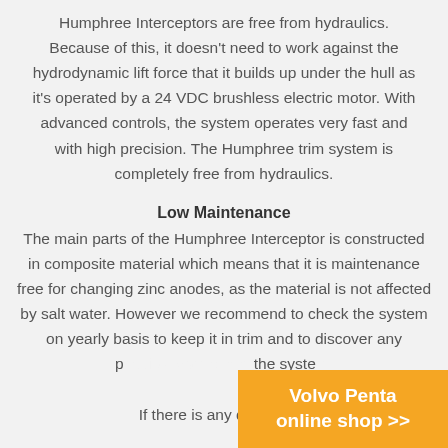Humphree Interceptors are free from hydraulics. Because of this, it doesn't need to work against the hydrodynamic lift force that it builds up under the hull as it's operated by a 24 VDC brushless electric motor. With advanced controls, the system operates very fast and with high precision. The Humphree trim system is completely free from hydraulics.
Low Maintenance
The main parts of the Humphree Interceptor is constructed in composite material which means that it is maintenance free for changing zinc anodes, as the material is not affected by salt water. However we recommend to check the system on yearly basis to keep it in trim and to discover any possible damage to the system.

If there is any damage to
[Figure (other): Volvo Penta online shop >> banner in orange/yellow at bottom right corner]